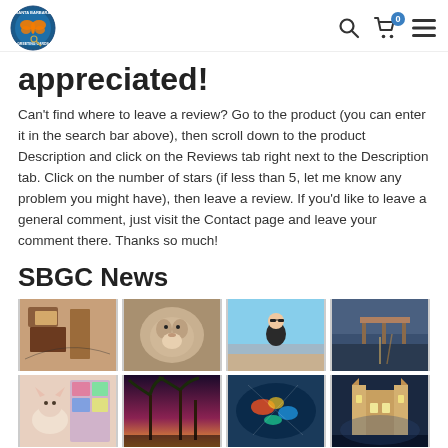Santa Barbara Greeting Cards logo, search, cart (0), menu
appreciated!
Can't find where to leave a review? Go to the product (you can enter it in the search bar above), then scroll down to the product Description and click on the Reviews tab right next to the Description tab. Click on the number of stars (if less than 5, let me know any problem you might have), then leave a review. If you'd like to leave a general comment, just visit the Contact page and leave your comment there. Thanks so much!
SBGC News
[Figure (photo): Grid of 8 photos: greeting cards, fluffy animal, woman at beach, pier at dusk, cat and cards, palm trees at sunset, colorful pool/art, Santa Barbara mission at night]